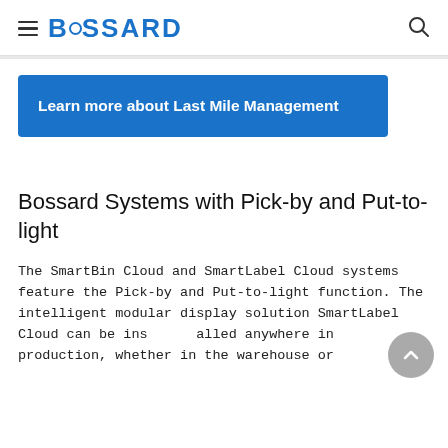BOSSARD
Learn more about Last Mile Management
Bossard Systems with Pick-by and Put-to-light
The SmartBin Cloud and SmartLabel Cloud systems feature the Pick-by and Put-to-light function. The intelligent modular display solution SmartLabel Cloud can be installed anywhere in production, whether in the warehouse or